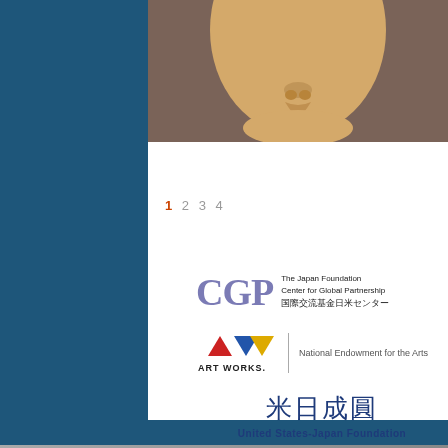[Figure (photo): Close-up photograph of a Japanese Noh mask or similar traditional mask showing a stylized face with tan/golden skin tone against a brownish-gray background. Only the lower portion of the face is visible.]
1 2 3 4
[Figure (logo): CGP - The Japan Foundation Center for Global Partnership logo. Purple CGP letters next to text reading 'The Japan Foundation Center for Global Partnership 国際交流基金日米センター']
[Figure (logo): ART WORKS. - National Endowment for the Arts logo. Red upward triangle, blue downward triangle, yellow downward triangle above text 'ART WORKS.' with vertical divider and 'National Endowment for the Arts' text.]
[Figure (logo): United States-Japan Foundation logo showing kanji characters 米日成圓 above text 'United States-Japan Foundation' in dark blue.]